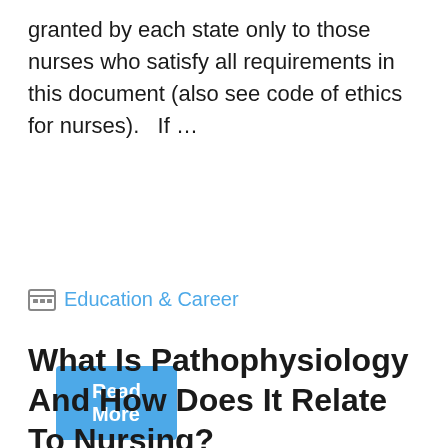granted by each state only to those nurses who satisfy all requirements in this document (also see code of ethics for nurses).   If ...
Read More
Education & Career
What Is Pathophysiology And How Does It Relate To Nursing?